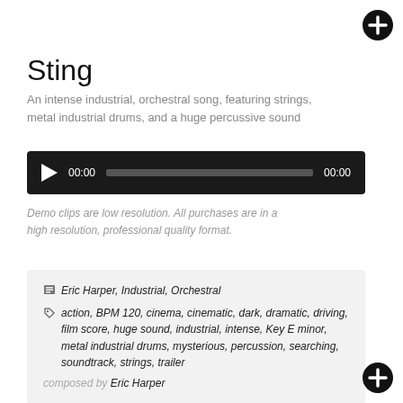[Figure (other): Plus/add button icon, top right]
Sting
An intense industrial, orchestral song, featuring strings, metal industrial drums, and a huge percussive sound
[Figure (other): Audio player with play button, 00:00 start time, progress bar, and 00:00 end time on dark background]
Demo clips are low resolution. All purchases are in a high resolution, professional quality format.
Eric Harper, Industrial, Orchestral
action, BPM 120, cinema, cinematic, dark, dramatic, driving, film score, huge sound, industrial, intense, Key E minor, metal industrial drums, mysterious, percussion, searching, soundtrack, strings, trailer
composed by Eric Harper
[Figure (other): Plus/add button icon, bottom right]